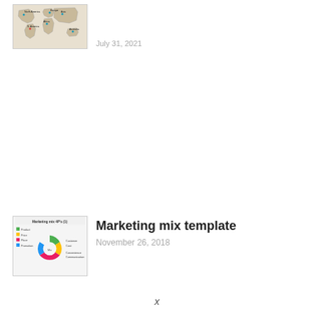[Figure (map): World map thumbnail showing global locations marked with colored dots and labels]
July 31, 2021
[Figure (infographic): Marketing mix 4P's donut/pie chart thumbnail showing Product, Price, Place, Promotion segments in green, yellow, pink/red, and blue]
Marketing mix template
November 26, 2018